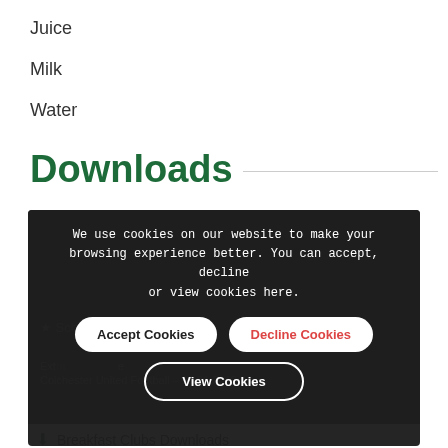Juice
Milk
Water
Downloads
[Figure (screenshot): Cookie consent overlay with text: We use cookies on our website to make your browsing experience better. You can accept, decline or view cookies here. Buttons: Accept Cookies, Decline Cookies, View Cookies. Behind the overlay: Schedule Downloads link, Colchester United Football – 15.01.2019 text, Breakfast Clubs Downloads link.]